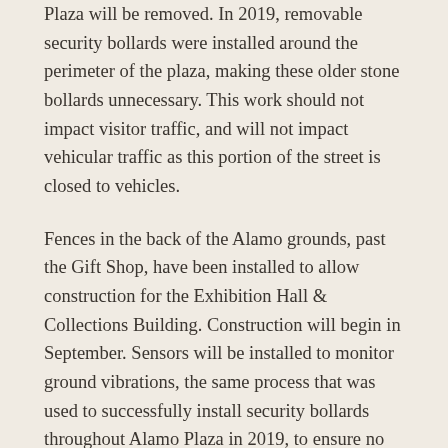Plaza will be removed. In 2019, removable security bollards were installed around the perimeter of the plaza, making these older stone bollards unnecessary. This work should not impact visitor traffic, and will not impact vehicular traffic as this portion of the street is closed to vehicles.
Fences in the back of the Alamo grounds, past the Gift Shop, have been installed to allow construction for the Exhibition Hall & Collections Building. Construction will begin in September. Sensors will be installed to monitor ground vibrations, the same process that was used to successfully install security bollards throughout Alamo Plaza in 2019, to ensure no damage is done to nearby Alamo structures. Construction for the Exhibition Hall & Collections Building will finish in 2022, and the building will open to the public in late 2022.
Crockett Street in front of the Menger Hotel remains closed to vehicular traffic but is now open for use as a temporary valet area for the Menger Hotel. This portion of the street remains open to pedestrian foot-traffic. Fencing in Alamo Plaza has been reduced. A portion of the south end of Alamo Plaza, including sections of Bonham, Crockett, and Alamo Streets are still closed for Alamo